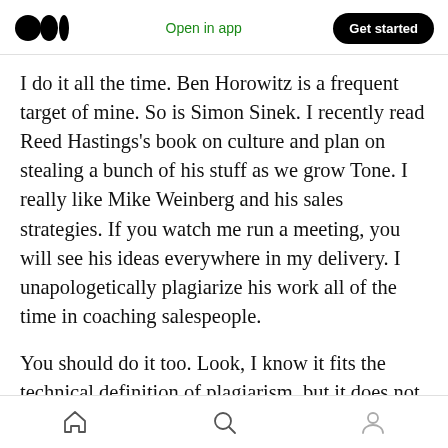Open in app | Get started
I do it all the time. Ben Horowitz is a frequent target of mine. So is Simon Sinek. I recently read Reed Hastings's book on culture and plan on stealing a bunch of his stuff as we grow Tone. I really like Mike Weinberg and his sales strategies. If you watch me run a meeting, you will see his ideas everywhere in my delivery. I unapologetically plagiarize his work all of the time in coaching salespeople.
You should do it too. Look, I know it fits the technical definition of plagiarism, but it does not actually match the spirit of intent. It's really just
Home | Search | Profile